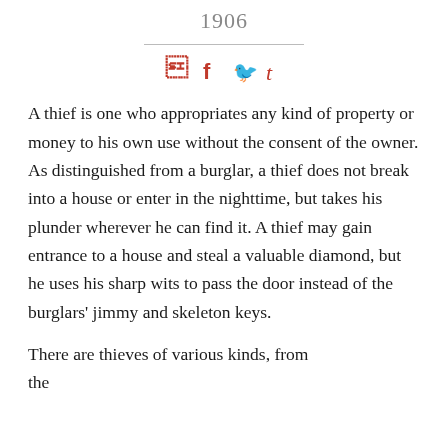1906
[Figure (other): Social sharing icons: Facebook (f), Twitter (bird), Tumblr (t)]
A thief is one who appropriates any kind of property or money to his own use without the consent of the owner. As distinguished from a burglar, a thief does not break into a house or enter in the nighttime, but takes his plunder wherever he can find it. A thief may gain entrance to a house and steal a valuable diamond, but he uses his sharp wits to pass the door instead of the burglars' jimmy and skeleton keys.
There are thieves of various kinds, from the